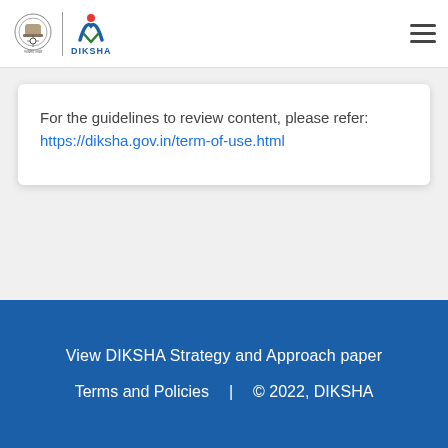Government of India Emblem | DIKSHA logo
For the guidelines to review content, please refer: https://diksha.gov.in/term-of-use.html
View DIKSHA Strategy and Approach paper | Terms and Policies | © 2022, DIKSHA